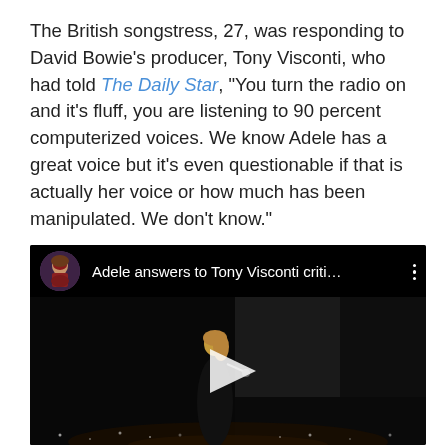The British songstress, 27, was responding to David Bowie's producer, Tony Visconti, who had told The Daily Star, "You turn the radio on and it's fluff, you are listening to 90 percent computerized voices. We know Adele has a great voice but it's even questionable if that is actually her voice or how much has been manipulated. We don't know."
[Figure (screenshot): YouTube video thumbnail showing 'Adele answers to Tony Visconti criti...' with a circular avatar of a portrait painting, three-dot menu icon, and a dark concert scene with a performer on stage and a play button overlay.]